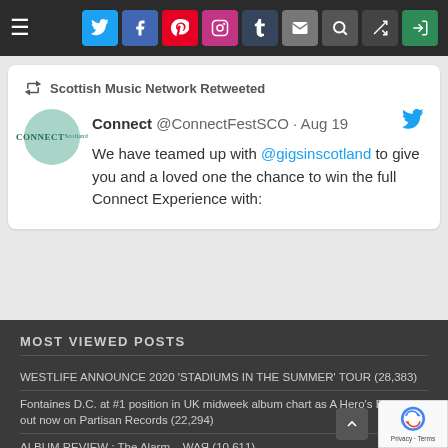Navigation bar with hamburger menu and social media icons: Twitter, Facebook, Pinterest, Instagram, Tumblr, Mail, Search, Shuffle, Login
[Figure (screenshot): Embedded tweet card showing Scottish Music Network Retweeted, Connect @ConnectFestSCO · Aug 19 with Connect logo and Twitter bird icon. Tweet text: We have teamed up with @gigsinscotland to give you and a loved one the chance to win the full Connect Experience with:]
MOST VIEWED POSTS
WESTLIFE ANNOUNCE 2020 'STADIUMS IN THE SUMMER' TOUR (28,383)
Fontaines D.C. at #1 position in UK midweek album chart as A Hero's Death is out now on Partisan Records (22,294)
ALBUM REVIEW : The Alarm – WAЯ (10,611)